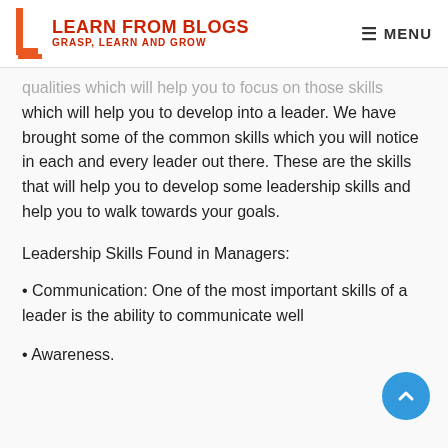LEARN FROM BLOGS — GRASP, LEARN AND GROW | MENU
qualities which will help you to focus on those skills which will help you to develop into a leader. We have brought some of the common skills which you will notice in each and every leader out there. These are the skills that will help you to develop some leadership skills and help you to walk towards your goals.
Leadership Skills Found in Managers:
• Communication: One of the most important skills of a leader is the ability to communicate well
• Awareness.